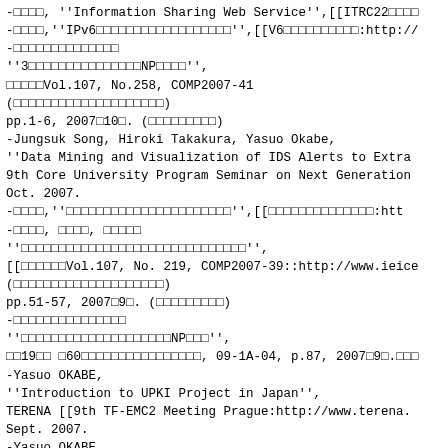-□□□□, ''Information Sharing Web Service'',[[ITRC22□□□□
-□□□□,''IPv6□□□□□□□□□□□□□□□□□□'',[[V6□□□□□□□□□□:http://
-□□□□□□□□□□□□□□
''3□□□□□□□□□□□□□□□NP□□□□'',
□□□□□Vol.107, No.258, COMP2007-41
(□□□□□□□□□□□□□□□□□□□□)
pp.1-6, 2007□10□. (□□□□□□□□□)
-Jungsuk Song, Hiroki Takakura, Yasuo Okabe,
''Data Mining and Visualization of IDS Alerts to Extra
9th Core University Program Seminar on Next Generation
Oct. 2007.
-□□□□,''□□□□□□□□□□□□□□□□□□□□□□'',[[□□□□□□□□□□□□□□:htt
-□□□□, □□□□, □□□□□
''□□□□□□□□□□□□□□□□□□□□□□□□□□□□□□'',
[[□□□□□□Vol.107, No. 219, COMP2007-39::http://www.ieice
(□□□□□□□□□□□□□□□□□□□□)
pp.51-57, 2007□9□. (□□□□□□□□□)
-□□□□□□□□□□□□□□□
''□□□□□□□□□□□□□□□□□□□□NP□□□'',
□□19□□ □60□□□□□□□□□□□□□□□□, 09-1A-04, p.87, 2007□9□.□□□
-Yasuo OKABE,
''Introduction to UPKI Project in Japan'',
TERENA [[9th TF-EMC2 Meeting Prague:http://www.terena.
Sept. 2007.
-Yasuo OKABE,
''MIAKO.net Public Wireless Internet Service in Kyoto'
-Yasuo OKABE,
''Japanese University PKI (UPKI) Update'', [[24th APAN
-□□□□, □□□□, □□□□, ''□□□□□□□□□□□□□□□□□□□□□□□□□□□□□□□□□
-□□□□□□□□□□□□□